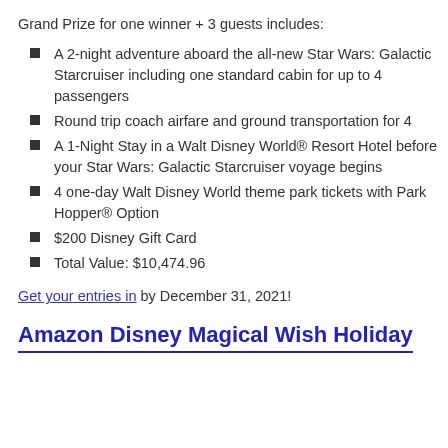Grand Prize for one winner + 3 guests includes:
A 2-night adventure aboard the all-new Star Wars: Galactic Starcruiser including one standard cabin for up to 4 passengers
Round trip coach airfare and ground transportation for 4
A 1-Night Stay in a Walt Disney World® Resort Hotel before your Star Wars: Galactic Starcruiser voyage begins
4 one-day Walt Disney World theme park tickets with Park Hopper® Option
$200 Disney Gift Card
Total Value: $10,474.96
Get your entries in by December 31, 2021!
Amazon Disney Magical Wish Holiday